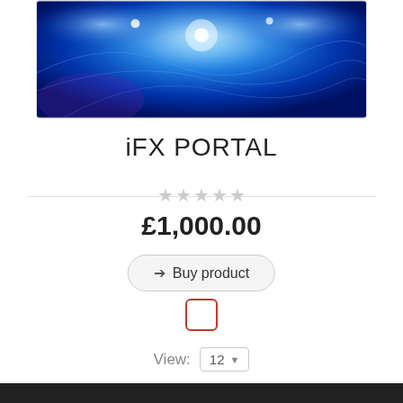[Figure (photo): Blue glowing abstract digital portal background image]
iFX PORTAL
★★★★★ (star rating, all empty/grey)
£1,000.00
➔ Buy product
View: 12